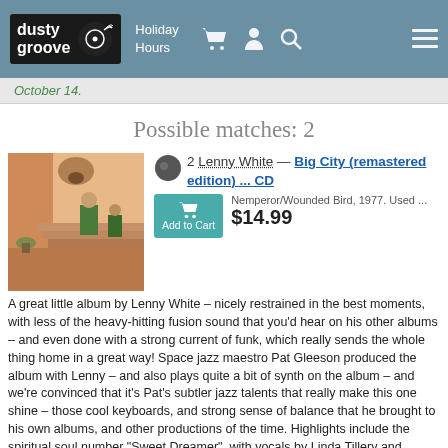dusty groove | Holiday Hours
October 14.
Possible matches: 2
[Figure (photo): Album cover art showing a person in green on stairs with warm orange/pink tones]
2 Lenny White — Big City (remastered edition) ... CD
Nemperor/Wounded Bird, 1977. Used ... $14.99
A great little album by Lenny White – nicely restrained in the best moments, with less of the heavy-hitting fusion sound that you'd hear on his other albums – and even done with a strong current of funk, which really sends the whole thing home in a great way! Space jazz maestro Pat Gleeson produced the album with Lenny – and also plays quite a bit of synth on the album – and we're convinced that it's Pat's subtler jazz talents that really make this one shine – those cool keyboards, and strong sense of balance that he brought to his own albums, and other productions of the time. Highlights include the spiritual soul number "Sweet Dreamer", with vocals by Linda Tillery and keyboards by Herbie Hancock – and the tight "Big City" groove, which features great contributions from both Brian Auger's Oblivion Express, and the Tower Of Power Horns. Other tracks include "The Ritual", "Rapid Transit", "And We Meet Again", "Enchanted Pool Suite", and "Ritmo Loco".
(Out of print.)